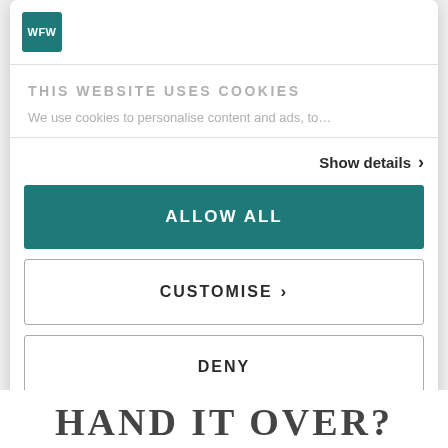[Figure (logo): WFW teal square logo with white text]
THIS WEBSITE USES COOKIES
We use cookies to personalise content and ads, to…
Show details ›
ALLOW ALL
CUSTOMISE ›
DENY
Powered by Cookiebot by Usercentrics
HAND IT OVER?